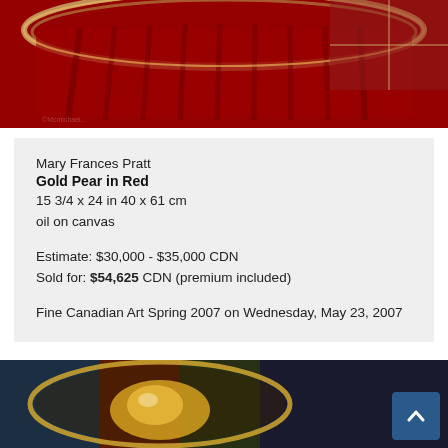[Figure (photo): Top portion of a photograph showing a red glass or bowl with gold/metallic rim details against a red background, partially cropped]
Mary Frances Pratt
Gold Pear in Red
15 3/4 x 24 in 40 x 61 cm
oil on canvas

Estimate: $30,000 - $35,000 CDN
Sold for: $54,625 CDN (premium included)

Fine Canadian Art Spring 2007 on Wednesday, May 23, 2007
[Figure (photo): Bottom portion of a photograph showing a bowl or dish with golden/amber colored object inside, on a colorful background, partially cropped at bottom of page]